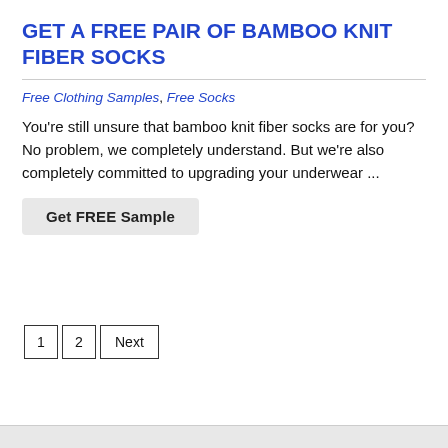GET A FREE PAIR OF BAMBOO KNIT FIBER SOCKS
Free Clothing Samples, Free Socks
You're still unsure that bamboo knit fiber socks are for you? No problem, we completely understand. But we're also completely committed to upgrading your underwear ...
Get FREE Sample
1  2  Next